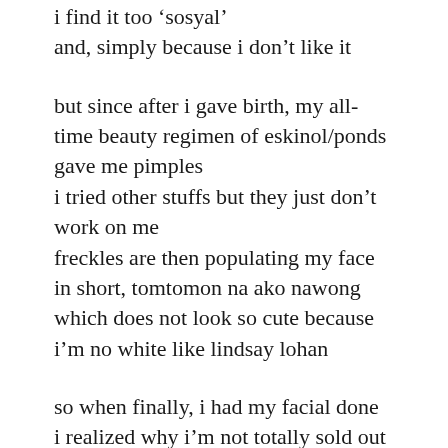i find it too ‘sosyal’
and, simply because i don’t like it
but since after i gave birth, my all-time beauty regimen of eskinol/ponds gave me pimples
i tried other stuffs but they just don’t work on me
freckles are then populating my face
in short, tomtomon na ako nawong
which does not look so cute because i’m no white like lindsay lohan
so when finally, i had my facial done
i realized why i’m not totally sold out to ‘pa-facial’ is because
i’m impatient — i’m so not happy that it took